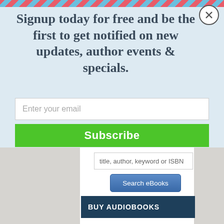[Figure (screenshot): Email signup modal overlay on a website. Modal has a diagonal red and blue stripe border at top, a close (X) button, bold title text, an email input field, and a green Subscribe button. Below the modal is a website search box for ebooks and a BUY AUDIOBOOKS section bar.]
Signup today for free and be the first to get notified on new updates, author events & specials.
Enter your email
Subscribe
title, author, keyword or ISBN
Search eBooks
BUY AUDIOBOOKS